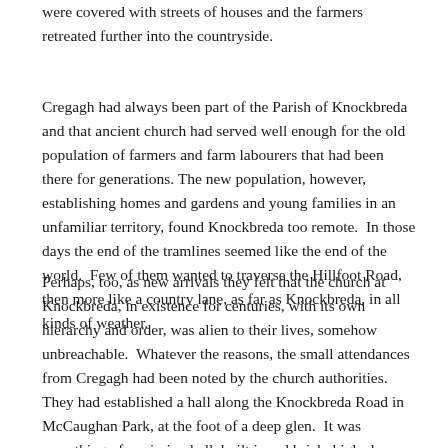were covered with streets of houses and the farmers retreated further into the countryside.
Cregagh had always been part of the Parish of Knockbreda and that ancient church had served well enough for the old population of farmers and farm labourers that had been there for generations. The new population, however, establishing homes and gardens and young families in an unfamiliar territory, found Knockbreda too remote. In those days the end of the tramlines seemed like the end of the world. Few of them wanted to traverse the Hillfoot Road, then more like a country lane, as far as Knockbreda, in all kinds of weather.
Perhaps, too, as new arrivals they felt that the church at Knockbreda, in existence for centuries, with its own hierarchy and order, was alien to their lives, somehow unbreachable. Whatever the reasons, the small attendances from Cregagh had been noted by the church authorities. They had established a hall along the Knockbreda Road in McCaughan Park, at the foot of a deep glen. It was something of a mission hall, built in red brick, high above a dangerous corner on the road, surrounded by trees, gloomy. A curate from Knockbreda conducted services there.